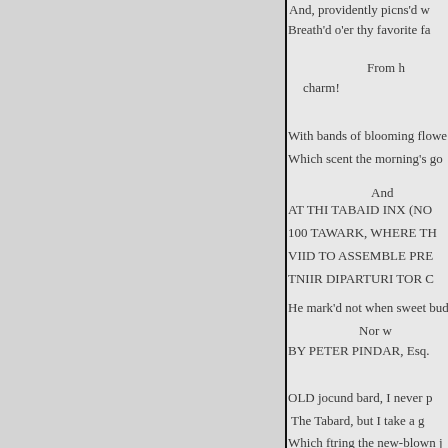And, providently picns'd w...
Breath'd o'er thy favorite fa...
From h...
charm!
With bands of blooming flowe...
Which scent the morning's go...
And ...
AT THI TABAID INX (NO...
100 TAWARK, WHERE TH...
VIID TO ASSEMBLE PRE...
TNIIR DIPARTURI TOR C...
He mark'd not when sweet bud...
Nor w...
BY PETER PINDAR, Esq.
OLD jocund bard, I never p...
The Tabard, but I take a g...
Which ftring the new-blown j...